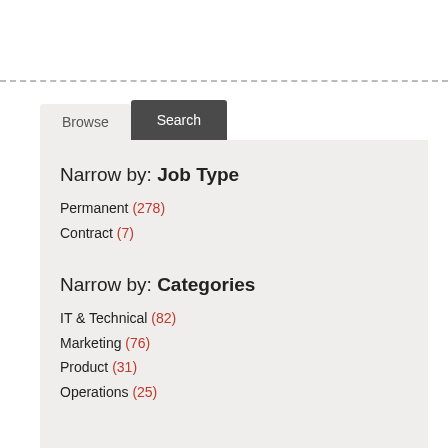Narrow by: Job Type
Permanent (278)
Contract (7)
Narrow by: Categories
IT & Technical (82)
Marketing (76)
Product (31)
Operations (25)